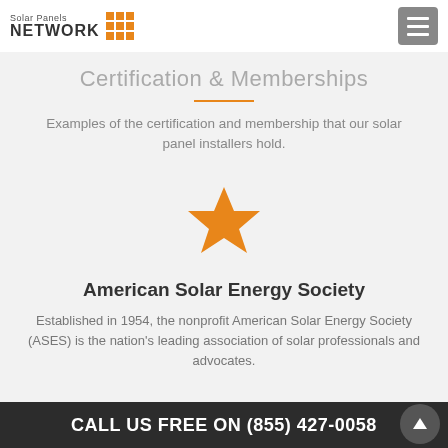Solar Panels NETWORK
Certification & Memberships
Examples of the certification and membership that our solar panel installers hold.
[Figure (illustration): Orange star icon representing a certification or membership badge]
American Solar Energy Society
Established in 1954, the nonprofit American Solar Energy Society (ASES) is the nation's leading association of solar professionals and advocates.
CALL US FREE ON (855) 427-0058